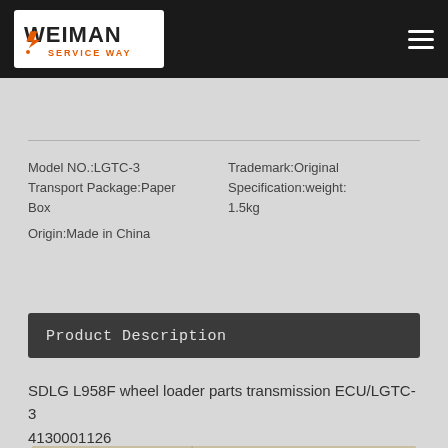[Figure (logo): Weiman logo on dark header bar with menu icon]
| Model NO.:LGTC-3 | Trademark:Original |
| Transport Package:Paper Box | Specification:weight: 1.5kg |
| Origin:Made in China |  |
Product Description
SDLG L958F wheel loader parts transmission ECU/LGTC-3 4130001126
[Figure (photo): Photo of a cardboard box/wooden surface with product inside, partially visible]